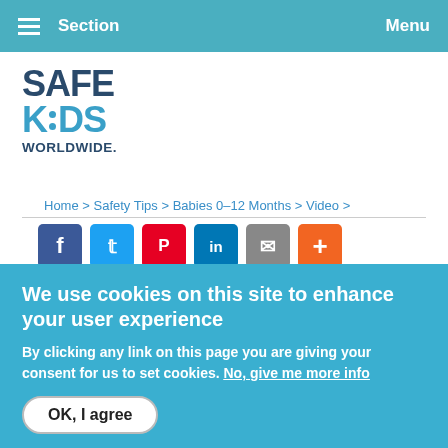Section   Menu
[Figure (logo): Safe Kids Worldwide logo — SAFE in dark blue, KIDS in teal with dot colon, WORLDWIDE in dark blue]
Home > Safety Tips > Babies 0–12 Months > Video >
[Figure (infographic): Social share buttons: Facebook (blue), Twitter (light blue), Pinterest (red), LinkedIn (dark blue), Email (grey), More/plus (orange)]
BABY
Congratulations on your new
We use cookies on this site to enhance your user experience
By clicking any link on this page you are giving your consent for us to set cookies. No, give me more info
OK, I agree